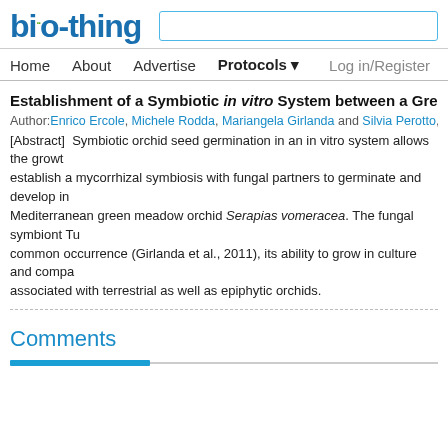[Figure (logo): bio-thing website logo in blue text with green accent dots above 'bi']
Home  About  Advertise  Protocols  Log in/Register
Establishment of a Symbiotic in vitro System between a Green Me...
Author: Enrico Ercole, Michele Rodda, Mariangela Girlanda and Silvia Perotto,  Da
[Abstract]  Symbiotic orchid seed germination in an in vitro system allows the growth... establish a mycorrhizal symbiosis with fungal partners to germinate and develop in... Mediterranean green meadow orchid Serapias vomeracea. The fungal symbiont Tu... common occurrence (Girlanda et al., 2011), its ability to grow in culture and compa... associated with terrestrial as well as epiphytic orchids.
Comments